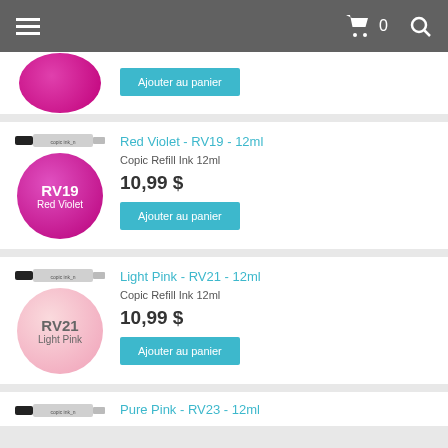Navigation bar with hamburger menu, cart (0), and search icon
[Figure (screenshot): Partial product card at top showing a pink ink circle and 'Ajouter au panier' button]
Red Violet - RV19 - 12ml
Copic Refill Ink 12ml
10,99 $
Ajouter au panier
Light Pink - RV21 - 12ml
Copic Refill Ink 12ml
10,99 $
Ajouter au panier
Pure Pink - RV23 - 12ml